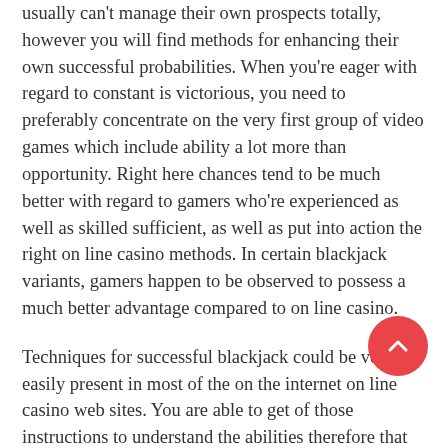usually can't manage their own prospects totally, however you will find methods for enhancing their own successful probabilities. When you're eager with regard to constant is victorious, you need to preferably concentrate on the very first group of video games which include ability a lot more than opportunity. Right here chances tend to be much better with regard to gamers who're experienced as well as skilled sufficient, as well as put into action the right on line casino methods. In certain blackjack variants, gamers happen to be observed to possess a much better advantage compared to on line casino.
Techniques for successful blackjack could be very easily present in most of the on the internet on line casino web sites. You are able to get of those instructions to understand the abilities therefore that you don't wind up dropping everything hard-earned cash you're wagering. Within online poker, a person perform towards additional gamers and never the home and for that reason for those who have much